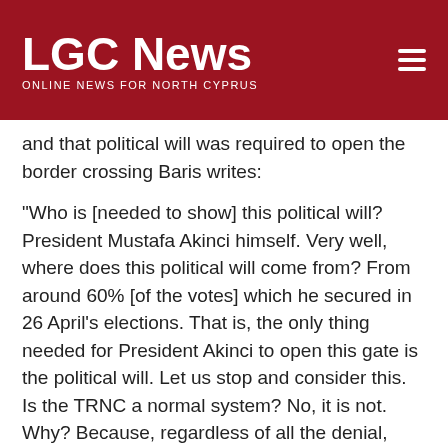LGC News — ONLINE NEWS FOR NORTH CYPRUS
and that political will was required to open the border crossing Baris writes:
“Who is [needed to show] this political will? President Mustafa Akinci himself. Very well, where does this political will come from? From around 60% [of the votes] which he secured in 26 April’s elections. That is, the only thing needed for President Akinci to open this gate is the political will. Let us stop and consider this. Is the TRNC a normal system? No, it is not. Why? Because, regardless of all the denial, there is another political will dominating the professed political will. If you like you can call it Ankara, if you like you can call it the army, but this is the situation in which we find ourselves. In my view, if the esteemed president is prevented in the manner I have tried to explain in the very beginning of this article by the above-